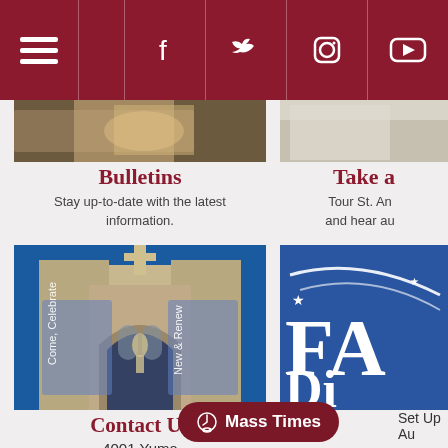Navigation bar with hamburger menu and social icons: Facebook, Twitter, Instagram, YouTube
[Figure (photo): Close-up photo of what appears to be a book or document, warm brown tones]
Bulletins
Stay up-to-date with the latest information.
[Figure (photo): Partial photo on the right side, light architectural tones]
Take a
Tour St. An and hear au
[Figure (photo): Photograph of a Gothic church exterior with cross on top, blue banners, and stone facade against blue sky]
[Figure (logo): FA DI logo on blue background with arc and stars]
Contact Us
4001 Yuma Street NW, Washingt...
Mass Times
Set Up Au